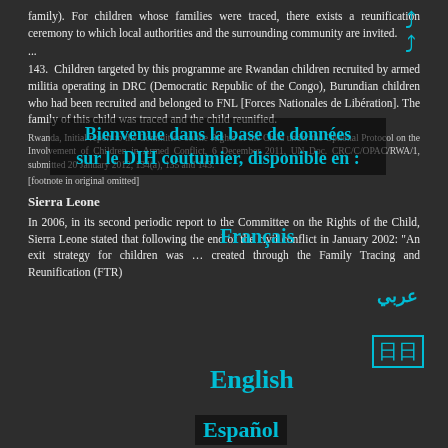family). For children whose families were traced, there exists a reunification ceremony to which local authorities and the surrounding community are invited.
...
143. Children targeted by this programme are Rwandan children recruited by armed militia operating in DRC (Democratic Republic of the Congo), Burundian children who had been recruited and belonged to FNL [Forces Nationales de Libération]. The family of this child was traced and the child reunified.
Rwanda, Initial report to the Committee on the Rights of the Child under the Optional Protocol on the Involvement of Children in Armed Conflict, 6 December 2011, UN Doc. CRC/C/OPAC/RWA/1, submitted 20 January 2012, 134(a), 135 and 143.
[footnote in original omitted]
Sierra Leone
In 2006, in its second periodic report to the Committee on the Rights of the Child, Sierra Leone stated that following the end of the civil conflict in January 2002: "An exit strategy for children was ... created through the Family Tracing and Reunification (FTR)